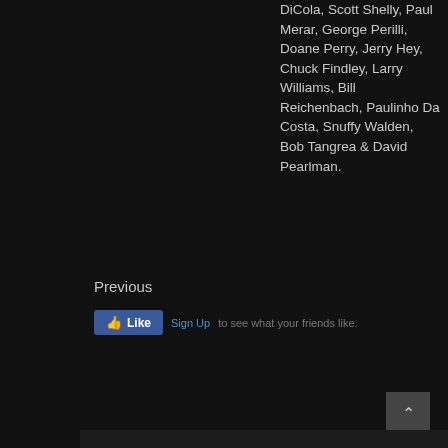DiCola, Scott Shelly, Paul Merar, George Perilli, Doane Perry, Jerry Hey, Chuck Findley, Larry Williams, Bill Reichenbach, Paulinho Da Costa, Snuffy Walden, Bob Tangrea & David Pearlman.
Previous
[Figure (screenshot): Facebook Like button with Sign Up link and 'to see what your friends like.' text]